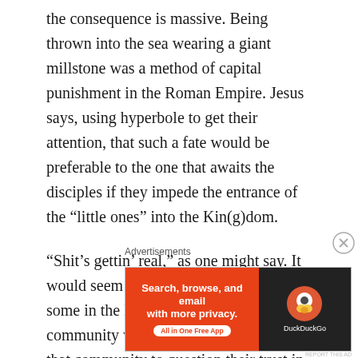the consequence is massive. Being thrown into the sea wearing a giant millstone was a method of capital punishment in the Roman Empire. Jesus says, using hyperbole to get their attention, that such a fate would be preferable to the one that awaits the disciples if they impede the entrance of the “little ones” into the Kin(g)dom.
“Shit’s gettin’ real,” as one might say. It would seem that the behavior of at least some in the leadership of the Markan community was causing “little ones” in that community to question their trust in Jesus and perhaps even to leave the community in the midst of the stresses
Advertisements
[Figure (other): DuckDuckGo advertisement banner: orange left panel reading 'Search, browse, and email with more privacy. All in One Free App' with a white pill button, dark right panel with DuckDuckGo duck logo and 'DuckDuckGo' text.]